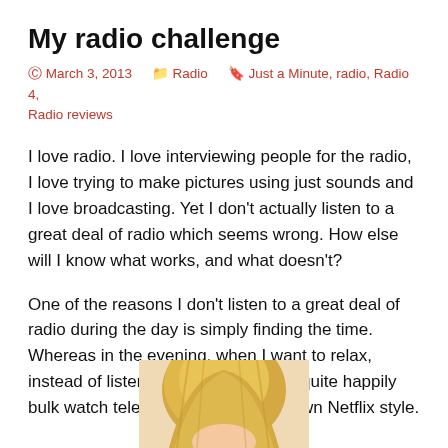My radio challenge
⊙ March 3, 2013   🗂 Radio   🏷 Just a Minute, radio, Radio 4, Radio reviews
I love radio. I love interviewing people for the radio, I love trying to make pictures using just sounds and I love broadcasting. Yet I don't actually listen to a great deal of radio which seems wrong. How else will I know what works, and what doesn't?
One of the reasons I don't listen to a great deal of radio during the day is simply finding the time. Whereas in the evening, when I want to relax, instead of listening to the radio I will quite happily bulk watch television shows. Full blown Netflix style.
[Figure (photo): Partial photo of a person with blonde hair visible at bottom of page]